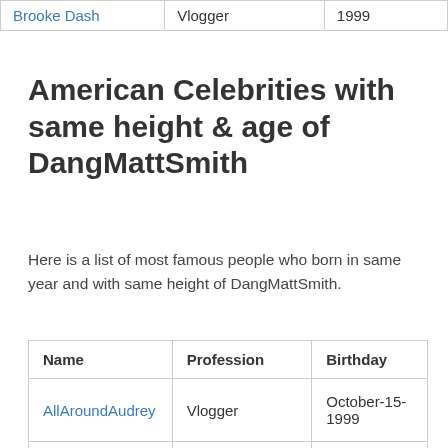| Brooke Dash (link) | Vlogger | 1999 |  |
American Celebrities with same height & age of DangMattSmith
Here is a list of most famous people who born in same year and with same height of DangMattSmith.
| Name | Profession | Birthday |
| --- | --- | --- |
| AllAroundAudrey | Vlogger | October-15-1999 |
| Anwar Hadid | Social Media Star | June-22-1999 |
| Aspen Rae | Instagram Model (partial) | July-13-1999 (partial) |